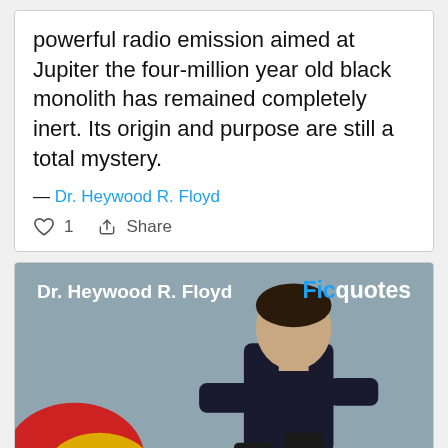powerful radio emission aimed at Jupiter the four-million year old black monolith has remained completely inert. Its origin and purpose are still a total mystery.
— Dr. Heywood R. Floyd
1  Share
[Figure (photo): Photo of Dr. Heywood R. Floyd character with Ficquotes branding overlay. Man in dark turtleneck seated, with red and yellow shapes in background.]